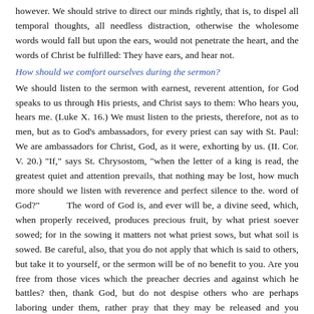however. We should strive to direct our minds rightly, that is, to dispel all temporal thoughts, all needless distraction, otherwise the wholesome words would fall but upon the ears, would not penetrate the heart, and the words of Christ be fulfilled: They have ears, and hear not.
How should we comfort ourselves during the sermon?
We should listen to the sermon with earnest, reverent attention, for God speaks to us through His priests, and Christ says to them: Who hears you, hears me. (Luke X. 16.) We must listen to the priests, therefore, not as to men, but as to God's ambassadors, for every priest can say with St. Paul: We are ambassadors for Christ, God, as it were, exhorting by us. (II. Cor. V. 20.) "If," says St. Chrysostom, "when the letter of a king is read, the greatest quiet and attention prevails, that nothing may be lost, how much more should we listen with reverence and perfect silence to the. word of God?"        The word of God is, and ever will be, a divine seed, which, when properly received, produces precious fruit, by what priest soever sowed; for in the sowing it matters not what priest sows, but what soil is sowed. Be careful, also, that you do not apply that which is said to others, but take it to yourself, or the sermon will be of no benefit to you. Are you free from those vices which the preacher decries and against which he battles? then, thank God, but do not despise others who are perhaps laboring under them, rather pray that they may be released and you preserved from falling into them. Keep also. from sleeping, talking, and other distractions, and remember, that whoever is of God, also willingly hears his word. (John VIII. 47.)